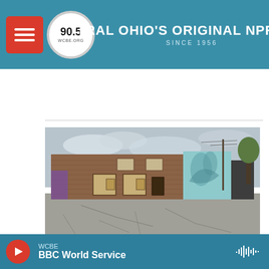90.5 WCBE — CENTRAL OHIO'S ORIGINAL NPR STATION — SINCE 1956
[Figure (screenshot): Listen button with play icon and duration 0:48]
[Figure (photo): Street-level photo of a brick commercial building with boarded windows, a mural on the right side, and a cracked asphalt parking lot in the foreground]
WCBE News
WCBE — BBC World Service